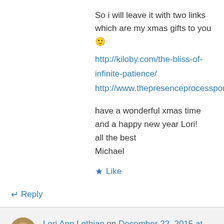So i will leave it with two links which are my xmas gifts to you 🙂
http://kiloby.com/the-bliss-of-infinite-patience/
http://www.thepresenceprocessportal.com/
have a wonderful xmas time and a happy new year Lori!
all the best
Michael
★ Like
↵ Reply
Lori Ann Lothian on December 22, 2015 at 7:32 pm
Hey love... I am the last to advocate